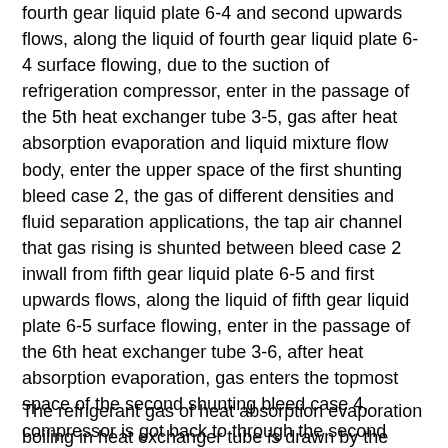fourth gear liquid plate 6-4 and second upwards flows, along the liquid of fourth gear liquid plate 6-4 surface flowing, due to the suction of refrigeration compressor, enter in the passage of the 5th heat exchanger tube 3-5, gas after heat absorption evaporation and liquid mixture flow body, enter the upper space of the first shunting bleed case 2, the gas of different densities and fluid separation applications, the tap air channel that gas rising is shunted between bleed case 2 inwall from fifth gear liquid plate 6-5 and first upwards flows, along the liquid of fifth gear liquid plate 6-5 surface flowing, enter in the passage of the 6th heat exchanger tube 3-6, after heat absorption evaporation, gas enters the topmost space of the second shunting bleed case 4, compressor is got back to through the second muffler 5, be separated the gas of drawing in first shunting bleed case 2 and get back to compressor through the first muffler 1, the refrigerant liquid of low-temp low-pressure is at heat exchange Bottomhole pressure, the heat of air is flow through outside absorption tube, for providing low-temperature receiver with cold space.
The refrigerant gas of heat absorption evaporation boiling in heat exchanger tube is drawn by the tubular evaparator